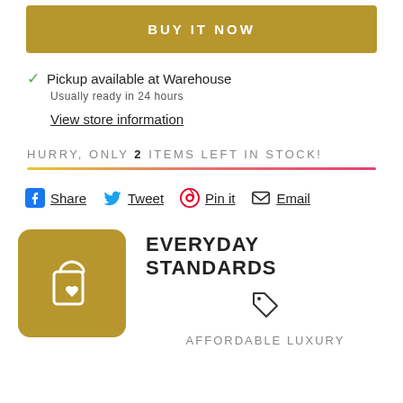BUY IT NOW
✓ Pickup available at Warehouse
Usually ready in 24 hours
View store information
HURRY, ONLY 2 ITEMS LEFT IN STOCK!
Share  Tweet  Pin it  Email
EVERYDAY STANDARDS
AFFORDABLE LUXURY